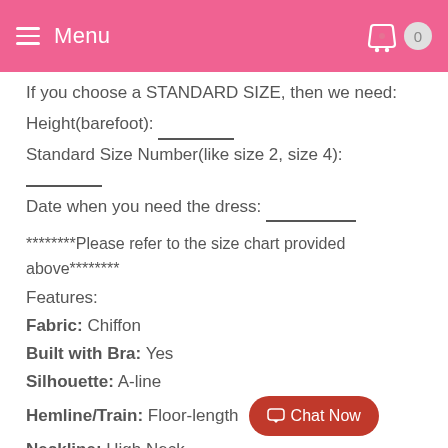Menu
If you choose a STANDARD SIZE, then we need:
Height(barefoot): ________
Standard Size Number(like size 2, size 4): ________
Date when you need the dress: ________
********Please refer to the size chart provided above********
Features:
Fabric: Chiffon
Built with Bra: Yes
Silhouette: A-line
Hemline/Train: Floor-length
Neckline: High Neck